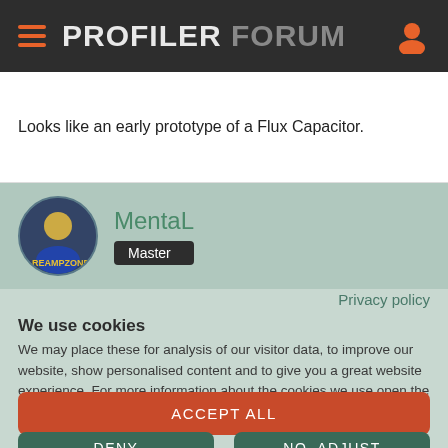PROFILER FORUM
Looks like an early prototype of a Flux Capacitor.
MentaL
Master
Privacy policy
We use cookies
We may place these for analysis of our visitor data, to improve our website, show personalised content and to give you a great website experience. For more information about the cookies we use open the settings.
ACCEPT ALL
DENY
NO, ADJUST